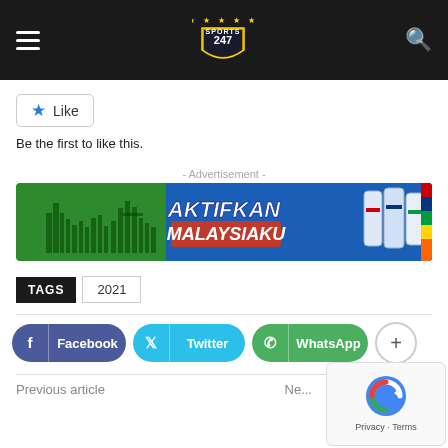Sports247 — site header with hamburger menu, logo, search icon
[Figure (logo): Sports247 logo — gold shield with '247' text and stars above]
Like
Be the first to like this.
- Advertisement -
[Figure (photo): Aktifkan Malaysiaku advertisement banner — green and blue background with Kuala Lumpur skyline (Petronas Towers) and water bottles]
TAGS  2021
Facebook  Twitter  WhatsApp  +
Previous article
Ne...